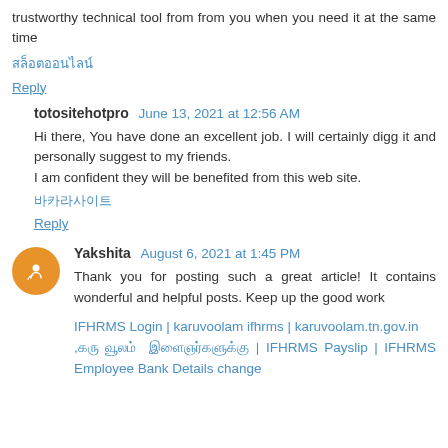trustworthy technical tool from from you when you need it at the same time
สล็อตออนไลน์
Reply
totositehotpro  June 13, 2021 at 12:56 AM
Hi there, You have done an excellent job. I will certainly digg it and personally suggest to my friends.
I am confident they will be benefited from this web site.
바카라사이트
Reply
Yakshita  August 6, 2021 at 1:45 PM
Thank you for posting such a great article! It contains wonderful and helpful posts. Keep up the good work
IFHRMS Login | karuvoolam ifhrms | karuvoolam.tn.gov.in ,கரு வூலம் இளைஞர்களுக்கு | IFHRMS Payslip | IFHRMS Employee Bank Details change